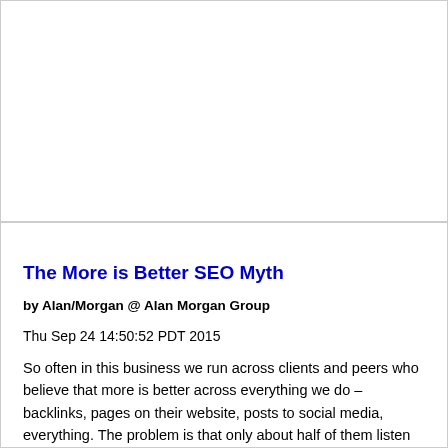The More is Better SEO Myth
by Alan/Morgan @ Alan Morgan Group
Thu Sep 24 14:50:52 PDT 2015
So often in this business we run across clients and peers who believe that more is better across everything we do – backlinks, pages on their website, posts to social media, everything.  The problem is that only about half of them listen